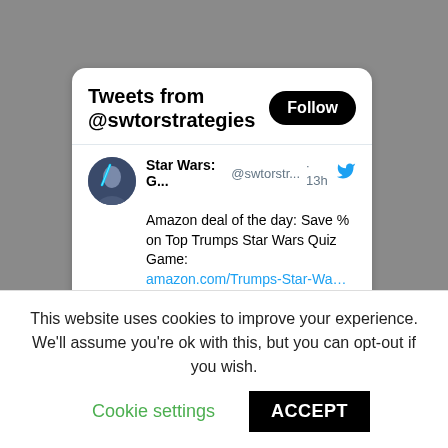Tweets from @swtorstrategies
Star Wars: G...  @swtorstr...  · 13h
Amazon deal of the day: Save % on Top Trumps Star Wars Quiz Game: amazon.com/Trumps-Star-Wa…
[Figure (photo): Star Wars Top Trumps Quiz Game product box showing STAR WARS logo on a black card game case]
This website uses cookies to improve your experience. We'll assume you're ok with this, but you can opt-out if you wish.
Cookie settings  ACCEPT